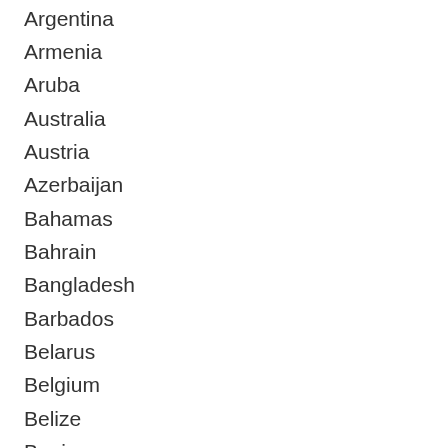Argentina
Armenia
Aruba
Australia
Austria
Azerbaijan
Bahamas
Bahrain
Bangladesh
Barbados
Belarus
Belgium
Belize
Benin
Bermuda
Bhut…